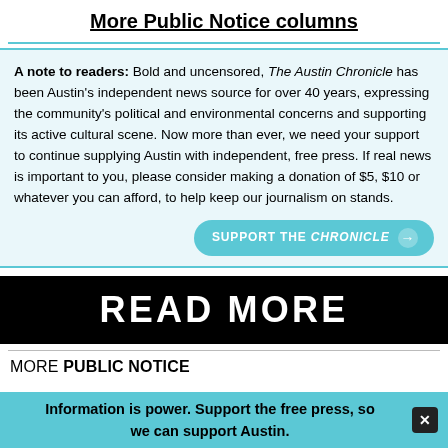More Public Notice columns
A note to readers: Bold and uncensored, The Austin Chronicle has been Austin's independent news source for over 40 years, expressing the community's political and environmental concerns and supporting its active cultural scene. Now more than ever, we need your support to continue supplying Austin with independent, free press. If real news is important to you, please consider making a donation of $5, $10 or whatever you can afford, to help keep our journalism on stands.
SUPPORT THE CHRONICLE →
READ MORE
MORE PUBLIC NOTICE
Information is power. Support the free press, so we can support Austin.